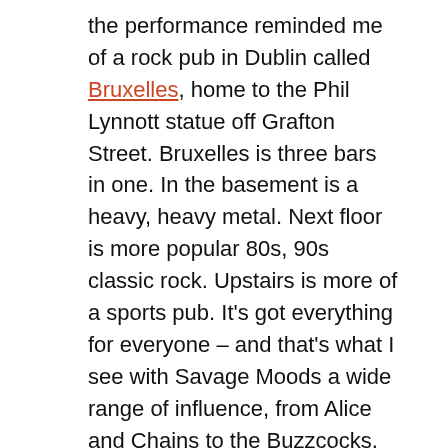the performance reminded me of a rock pub in Dublin called Bruxelles, home to the Phil Lynnott statue off Grafton Street. Bruxelles is three bars in one. In the basement is a heavy, heavy metal. Next floor is more popular 80s, 90s classic rock. Upstairs is more of a sports pub. It's got everything for everyone – and that's what I see with Savage Moods a wide range of influence, from Alice and Chains to the Buzzcocks, sometimes in the same song!
They opened with Neighborhood; it's dark and almost noisy or ambient. Ben sings, slowly and eerily. The song commands attention. It's a great opener.  From that to upbeat, Cult-like Rainbow Eyes. It's got that awesome 80s flare and a great